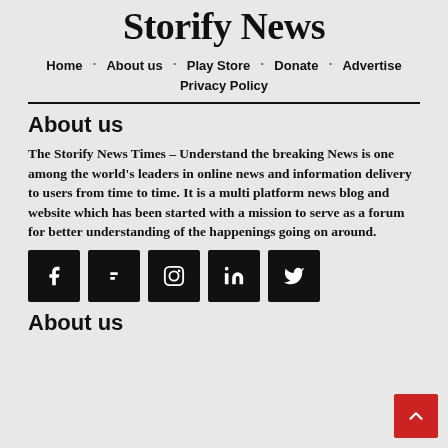Storify News
Home · About us · Play Store · Donate · Advertise · Privacy Policy
About us
The Storify News Times – Understand the breaking News is one among the world's leaders in online news and information delivery to users from time to time. It is a multi platform news blog and website which has been started with a mission to serve as a forum for better understanding of the happenings going on around.
[Figure (infographic): Row of 5 black square social media icons: Facebook, Flipboard, Instagram, LinkedIn, Twitter]
About us